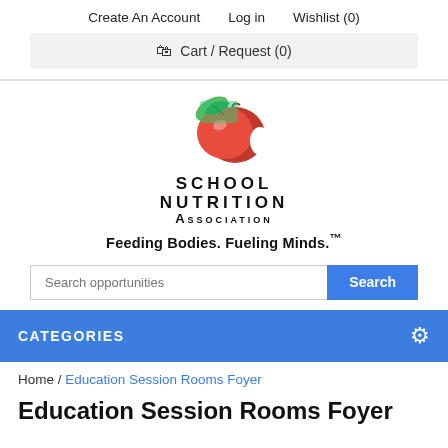Create An Account   Log in   Wishlist (0)
Cart / Request (0)
[Figure (logo): School Nutrition Association logo with red apple and green leaf, with text SCHOOL NUTRITION ASSOCIATION and tagline Feeding Bodies. Fueling Minds.]
Search opportunities [Search button]
CATEGORIES
Home / Education Session Rooms Foyer
Education Session Rooms Foyer